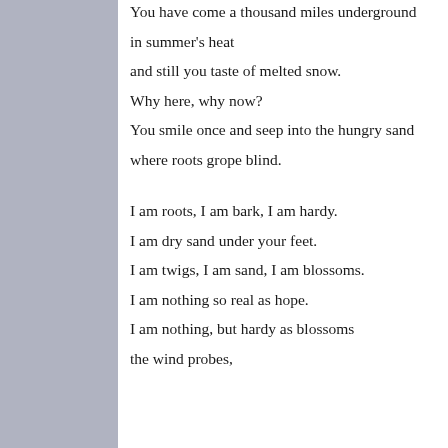You have come a thousand miles underground
in summer's heat
and still you taste of melted snow.
Why here, why now?
You smile once and seep into the hungry sand
where roots grope blind.

I am roots, I am bark, I am hardy.
I am dry sand under your feet.
I am twigs, I am sand, I am blossoms.
I am nothing so real as hope.
I am nothing, but hardy as blossoms
the wind probes,